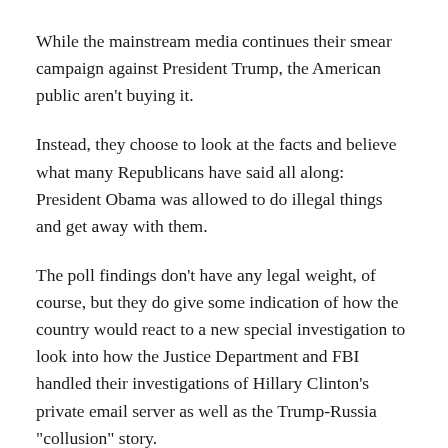While the mainstream media continues their smear campaign against President Trump, the American public aren’t buying it.
Instead, they choose to look at the facts and believe what many Republicans have said all along: President Obama was allowed to do illegal things and get away with them.
The poll findings don’t have any legal weight, of course, but they do give some indication of how the country would react to a new special investigation to look into how the Justice Department and FBI handled their investigations of Hillary Clinton’s private email server as well as the Trump-Russia “collusion” story.
That will look bad for Democrats, but the FBI would be in hot water as well.